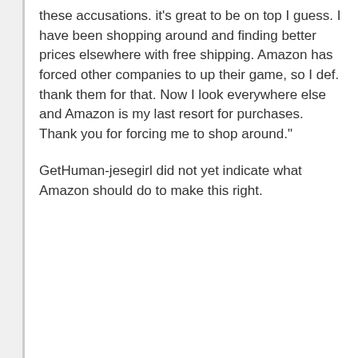these accusations. it's great to be on top I guess. I have been shopping around and finding better prices elsewhere with free shipping. Amazon has forced other companies to up their game, so I def. thank them for that. Now I look everywhere else and Amazon is my last resort for purchases. Thank you for forcing me to shop around."
GetHuman-jesegirl did not yet indicate what Amazon should do to make this right.